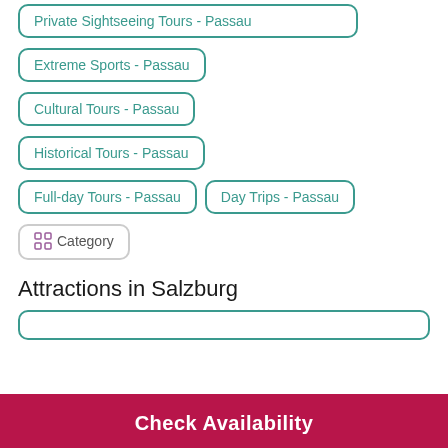Private Sightseeing Tours - Passau
Extreme Sports - Passau
Cultural Tours - Passau
Historical Tours - Passau
Full-day Tours - Passau
Day Trips - Passau
Category
Attractions in Salzburg
(partially visible item)
Check Availability